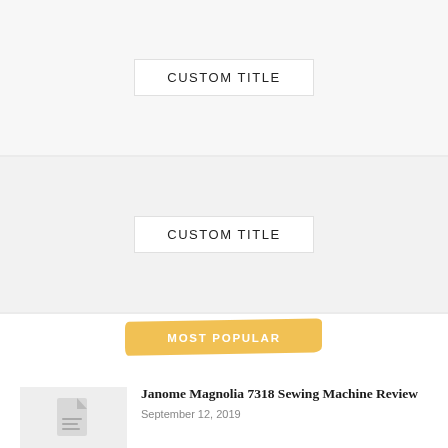CUSTOM TITLE
CUSTOM TITLE
MOST POPULAR
[Figure (illustration): Document/file icon placeholder thumbnail]
Janome Magnolia 7318 Sewing Machine Review
September 12, 2019